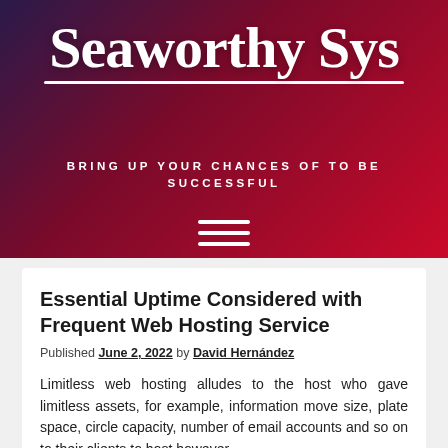[Figure (logo): Seaworthy Sys logo with white cursive text on dark red-purple gradient background, with white underline beneath logo text]
BRING UP YOUR CHANCES OF TO BE SUCCESSFUL
[Figure (other): Hamburger menu icon — three white horizontal lines]
Essential Uptime Considered with Frequent Web Hosting Service
Published June 2, 2022 by David Hernández
Limitless web hosting alludes to the host who gave limitless assets, for example, information move size, plate space, circle capacity, number of email accounts and so on to their clients to host however